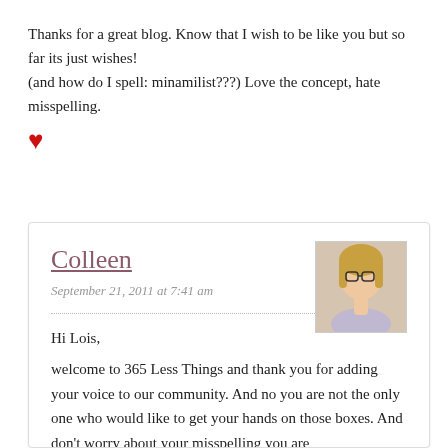Thanks for a great blog. Know that I wish to be like you but so far its just wishes!
(and how do I spell: minamilist???) Love the concept, hate misspelling.
♥
Colleen
September 21, 2011 at 7:41 am
[Figure (photo): Avatar photo of Colleen, a woman with glasses and blonde hair]
Hi Lois,
welcome to 365 Less Things and thank you for adding your voice to our community. And no you are not the only one who would like to get your hands on those boxes. And don't worry about your misspelling you are